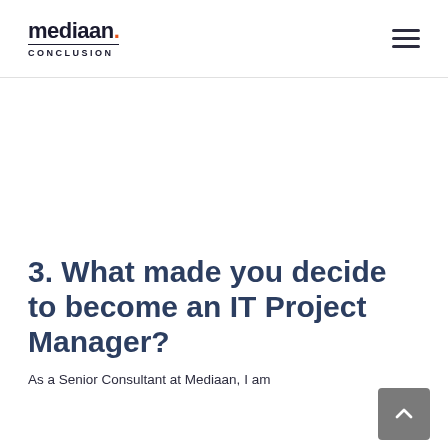mediaan. CONCLUSION
3. What made you decide to become an IT Project Manager?
As a Senior Consultant at Mediaan, I am